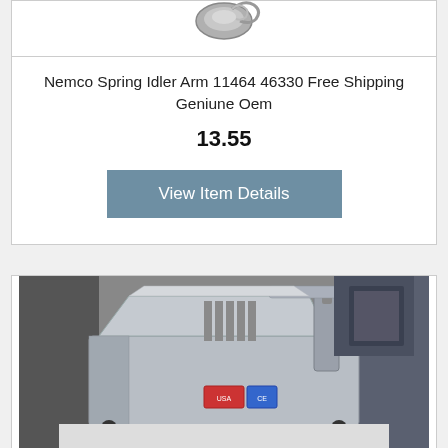[Figure (photo): Partial view of a Nemco spring idler arm part, cropped at top of card]
Nemco Spring Idler Arm 11464 46330 Free Shipping Geniune Oem
13.55
View Item Details
[Figure (photo): Photo of a Nemco commercial food processing machine (slicer/cutter) in stainless steel on a white surface]